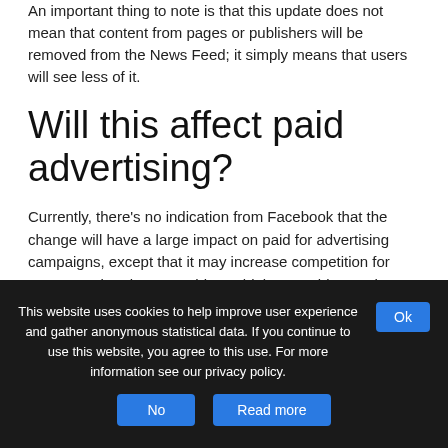An important thing to note is that this update does not mean that content from pages or publishers will be removed from the News Feed; it simply means that users will see less of it.
Will this affect paid advertising?
Currently, there’s no indication from Facebook that the change will have a large impact on paid for advertising campaigns, except that it may increase competition for News Feed real estate. This could, in turn, drive up the price of advertising on Facebook—though it remains to be
This website uses cookies to help improve user experience and gather anonymous statistical data. If you continue to use this website, you agree to this use. For more information see our privacy policy.